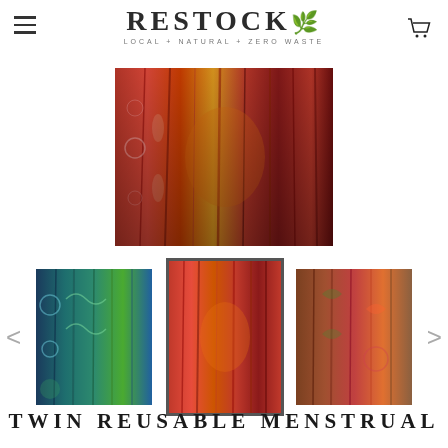RESTOCK — LOCAL + NATURAL + ZERO WASTE
[Figure (photo): Main product image showing multiple rolled fabric bolts in red and warm tones with various patterns]
[Figure (photo): Thumbnail carousel showing three fabric images: left - blue/teal/green patterned fabrics, center (selected) - red patterned fabrics matching main image, right - brown/red/green fabrics]
TWIN REUSABLE MENSTRUAL